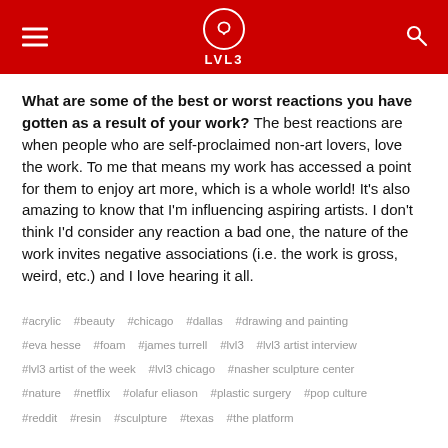LVL3
What are some of the best or worst reactions you have gotten as a result of your work? The best reactions are when people who are self-proclaimed non-art lovers, love the work. To me that means my work has accessed a point for them to enjoy art more, which is a whole world! It's also amazing to know that I'm influencing aspiring artists. I don't think I'd consider any reaction a bad one, the nature of the work invites negative associations (i.e. the work is gross, weird, etc.) and I love hearing it all.
#acrylic  #beauty  #chicago  #dallas  #drawing and painting
#eva hesse  #foam  #james turrell  #lvl3  #lvl3 artist interview
#lvl3 artist of the week  #lvl3 chicago  #nasher sculpture center
#nature  #netflix  #olafur eliason  #plastic surgery  #pop culture
#reddit  #resin  #sculpture  #texas  #the platform